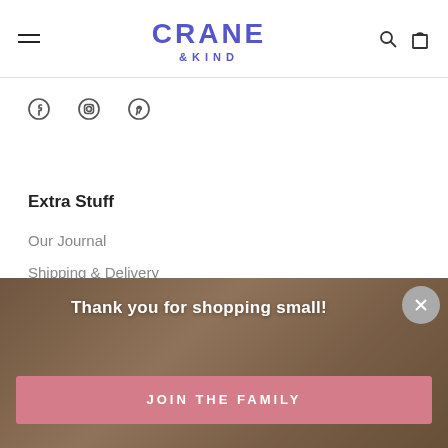Crane & Kind — navigation header with hamburger menu, logo, search and cart icons
[Figure (logo): Crane & Kind logo in purple/indigo text with stylized lettering]
[Figure (infographic): Social media icons: Facebook, Instagram, Pinterest]
Extra Stuff
Our Journal
Shipping & Delivery
Get In Touch
Thank you for shopping small!
JOIN THE FAMILY